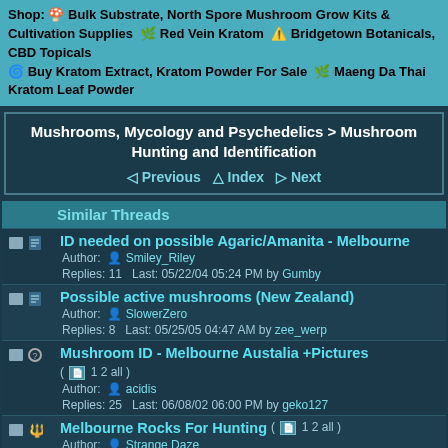Shop: 🍄 Bulk Substrate, North Spore Mushroom Grow Kits & Cultivation Supplies 🌿 Red Vein Kratom ⚠️ Bridgetown Botanicals, CBD Topicals 🌀 Buy Kratom Extract, Kratom Powder For Sale 🌿 Maeng Da Thai Kratom Leaf Powder
Mushrooms, Mycology and Psychedelics > Mushroom Hunting and Identification ◁ Previous △ Index ▷ Next
Similar Threads
ID needed on possible Agaric/Amanita - Melbourne Author: Smiley_Riley Replies: 11 Last: 05/22/04 05:24 PM by Gumby
Possible active mushrooms (New Zealand) Author: SlowerZero Replies: 8 Last: 05/25/05 04:47 AM by zee_werp
Mushroom ID - Melbourne Austalia +Pictures ( 1 2 all ) Author: acidis Replies: 25 Last: 06/08/02 06:00 PM by geko127
Melbourne Rocks For Hunting ( 1 2 all ) Author: Strange Daze Replies: 31 Last: 06/20/02 04:11 AM by geko127
Melbourne Victoria Australia (many pics, subs/ spores etc) ( 1 2 3 4 all ) Author: suboriginal Replies: 60 Last: 06/17/18 04:56 AM by Scibe23
ID request - sterile subs?